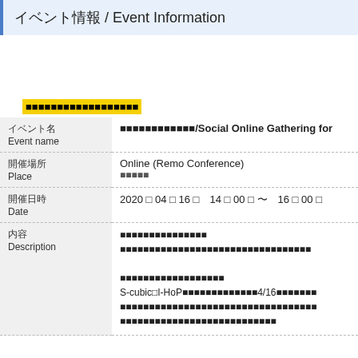イベント情報 / Event Information
■■■■■■■■■■■■■■■■■■
| Field | Value |
| --- | --- |
| イベント名
Event name | ■■■■■■■■■■■■/Social Online Gathering for |
| 開催場所
Place | Online (Remo Conference)
■■■■■ |
| 開催日時
Date | 2020 □ 04 □ 16 □　14 □ 00 □ 〜　16 □ 00 □ |
| 内容
Description | ■■■■■■■■■■■■■■■
■■■■■■■■■■■■■■■■■■■■■■■■■■■■■■■■■

■■■■■■■■■■■■■■■■■■
S-cubic□I-HoP■■■■■■■■■■■■■4/16■■■■■■■
■■■■■■■■■■■■■■■■■■■■■■■■■■■■■■■■■■
■■■■■■■■■■■■■■■■■■■■■■■■■■■ |